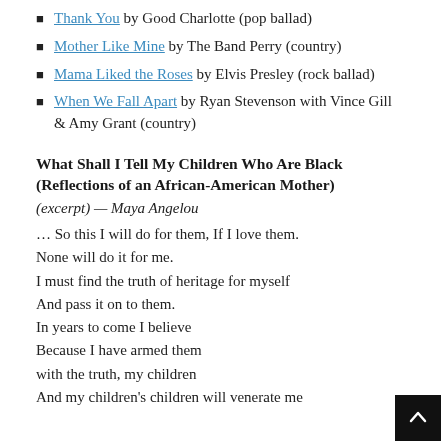Thank You by Good Charlotte (pop ballad)
Mother Like Mine by The Band Perry (country)
Mama Liked the Roses by Elvis Presley (rock ballad)
When We Fall Apart by Ryan Stevenson with Vince Gill & Amy Grant (country)
What Shall I Tell My Children Who Are Black (Reflections of an African-American Mother)
(excerpt) — Maya Angelou
… So this I will do for them, If I love them.
None will do it for me.
I must find the truth of heritage for myself
And pass it on to them.
In years to come I believe
Because I have armed them
with the truth, my children
And my children's children will venerate me